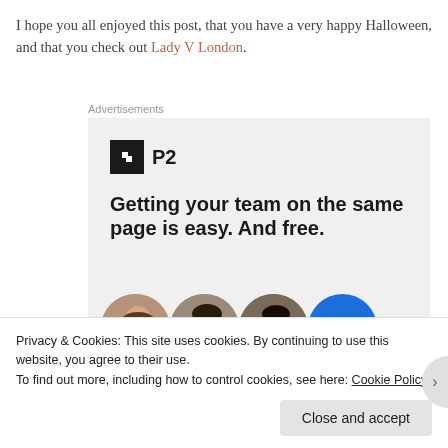I hope you all enjoyed this post, that you have a very happy Halloween, and that you check out Lady V London.
Advertisements
[Figure (screenshot): Advertisement for P2 with logo, headline 'Getting your team on the same page is easy. And free.' and circular user avatars at bottom]
Privacy & Cookies: This site uses cookies. By continuing to use this website, you agree to their use.
To find out more, including how to control cookies, see here: Cookie Policy
Close and accept